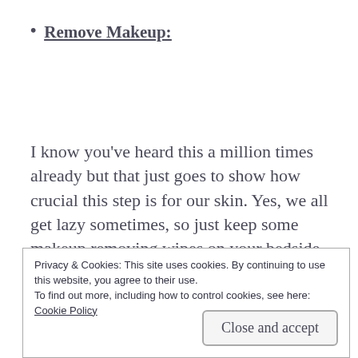Remove Makeup:
I know you’ve heard this a million times already but that just goes to show how crucial this step is for our skin. Yes, we all get lazy sometimes, so just keep some makeup removing wipes on your bedside table and take
Privacy & Cookies: This site uses cookies. By continuing to use this website, you agree to their use.
To find out more, including how to control cookies, see here:
Cookie Policy
Close and accept
that dirt and grime on your face.